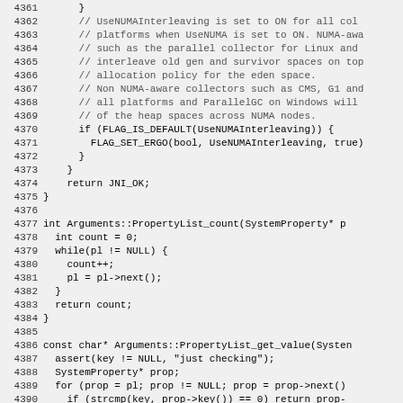Source code listing lines 4361-4390, C++ code with NUMA interleaving logic and PropertyList helper functions